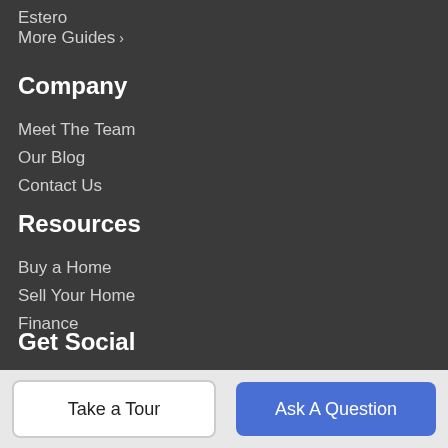Estero
More Guides >
Company
Meet The Team
Our Blog
Contact Us
Resources
Buy a Home
Sell Your Home
Finance
Get Social
[Figure (other): Four social media icons: orange/red, dark blue (Facebook), light blue (Twitter), teal (LinkedIn), partially cut off at bottom]
Take a Tour | Ask A Question